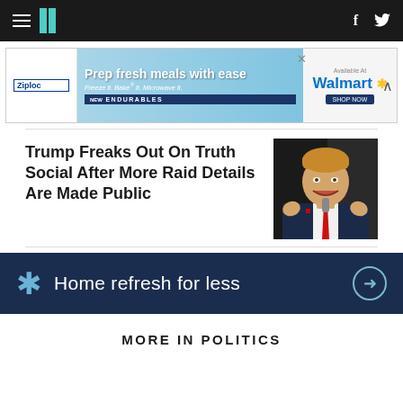HuffPost navigation bar with hamburger menu, logo, Facebook and Twitter icons
[Figure (photo): Ziploc advertisement banner - Prep fresh meals with ease, Freeze it. Bake it. Microwave it. New Endurables. Available at Walmart.]
Trump Freaks Out On Truth Social After More Raid Details Are Made Public
[Figure (photo): Photo of Donald Trump speaking at a podium with fists raised, wearing a dark suit and red tie, against a dark background]
[Figure (photo): Walmart advertisement - Home refresh for less with arrow button, dark navy background with Walmart snowflake logo]
MORE IN POLITICS